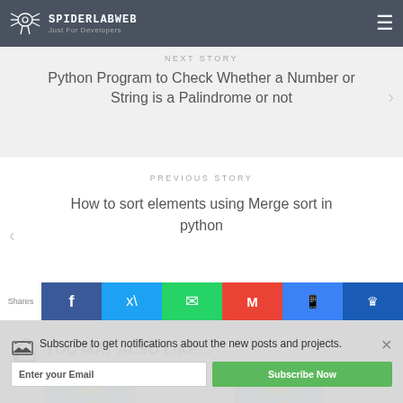SPIDERLABWEB Just For Developers
NEXT STORY
Python Program to Check Whether a Number or String is a Palindrome or not
PREVIOUS STORY
How to sort elements using Merge sort in python
YOU MAY ALSO LIKE...
[Figure (illustration): Python logo - blue and yellow snake symbol]
[Figure (illustration): Python logo - blue and yellow snake symbol]
Subscribe to get notifications about the new posts and projects.
Enter your Email
Subscribe Now